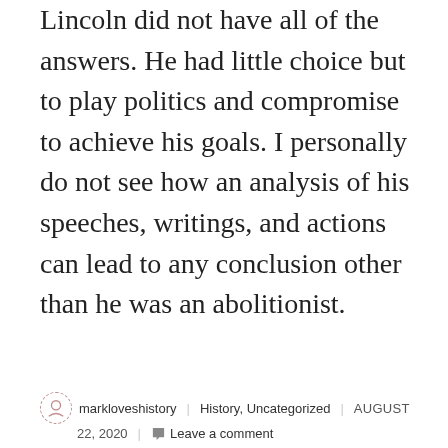Lincoln did not have all of the answers. He had little choice but to play politics and compromise to achieve his goals. I personally do not see how an analysis of his speeches, writings, and actions can lead to any conclusion other than he was an abolitionist.
markloveshistory | History, Uncategorized | AUGUST 22, 2020 | Leave a comment
An Emergency…“Temporary” Tax
[Figure (photo): Sepia-toned historical photograph or document image, partially visible at bottom of page]